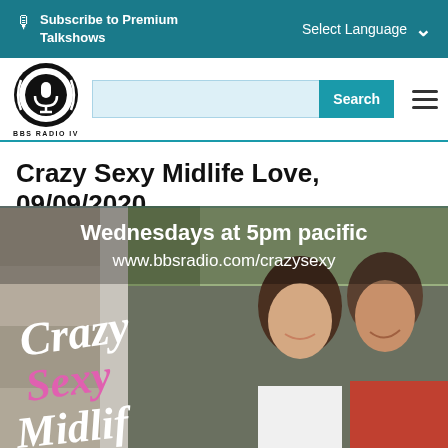Subscribe to Premium Talkshows | Select Language
[Figure (logo): BBS Radio IV circular logo with microphone graphic and text BBS RADIO IV]
Crazy Sexy Midlife Love, 09/09/2020
[Figure (photo): Crazy Sexy Midlife Love show banner with couple smiling, text: Wednesdays at 5pm pacific, www.bbsradio.com/crazysexy, and Crazy Sexy Midlife Love script text overlay]